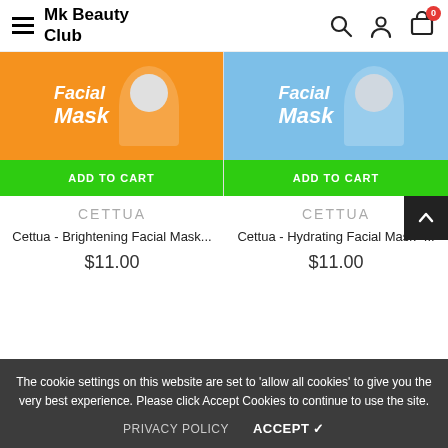Mk Beauty Club
[Figure (screenshot): Product image: Cettua Brightening Facial Mask on orange background]
[Figure (screenshot): Product image: Cettua Hydrating Facial Mask on blue background]
ADD TO CART
ADD TO CART
CETTUA
CETTUA
Cettua - Brightening Facial Mask...
Cettua - Hydrating Facial Mask -...
$11.00
$11.00
The cookie settings on this website are set to 'allow all cookies' to give you the very best experience. Please click Accept Cookies to continue to use the site.
PRIVACY POLICY
ACCEPT ✓